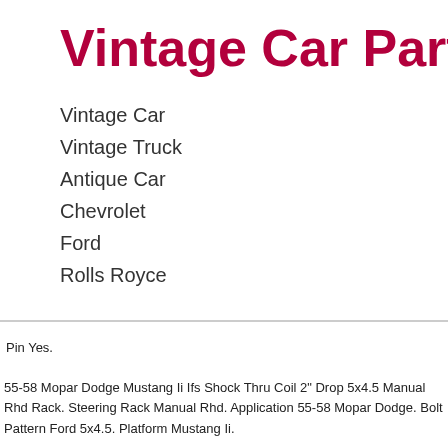Vintage Car Parts
Vintage Car
Vintage Truck
Antique Car
Chevrolet
Ford
Rolls Royce
Pin Yes.

55-58 Mopar Dodge Mustang Ii Ifs Shock Thru Coil 2" Drop 5x4.5 Manual Rhd Rack. Steering Rack Manual Rhd. Application 55-58 Mopar Dodge. Bolt Pattern Ford 5x4.5. Platform Mustang Ii.